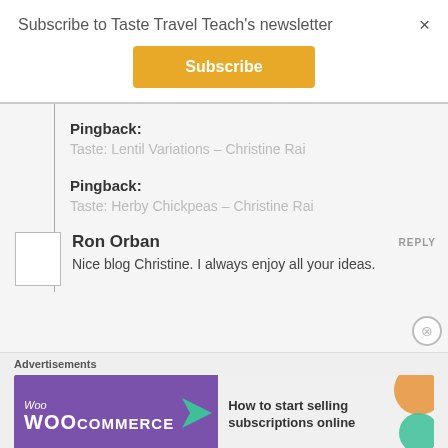Subscribe to Taste Travel Teach's newsletter
Subscribe
Pingback:
Taste: Lentil Variations – Christine Rai
Pingback:
Taste: Herby Chickpeas – Christine Rai
Ron Orban
REPLY
Nice blog Christine. I always enjoy all your ideas.
Advertisements
[Figure (screenshot): WooCommerce advertisement banner: 'How to start selling subscriptions online']